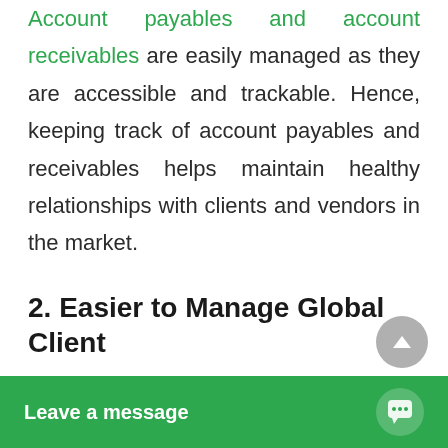Account payables and account receivables are easily managed as they are accessible and trackable. Hence, keeping track of account payables and receivables helps maintain healthy relationships with clients and vendors in the market.
2. Easier to Manage Global Client
An auto invoicing system like OutInvoice allows you to manage your global clients with ease just in a single click. You do not have to w... currency excha...
[Figure (other): Chat widget overlay at bottom of page reading 'Leave a message' with a speech bubble icon]